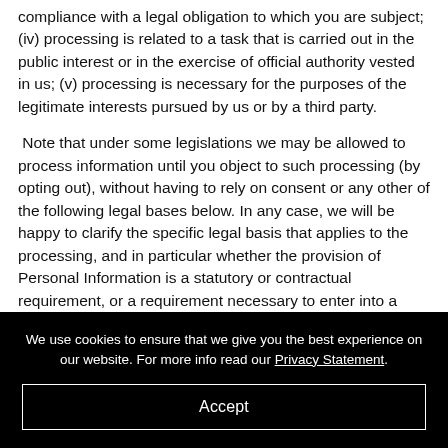compliance with a legal obligation to which you are subject; (iv) processing is related to a task that is carried out in the public interest or in the exercise of official authority vested in us; (v) processing is necessary for the purposes of the legitimate interests pursued by us or by a third party.
Note that under some legislations we may be allowed to process information until you object to such processing (by opting out), without having to rely on consent or any other of the following legal bases below. In any case, we will be happy to clarify the specific legal basis that applies to the processing, and in particular whether the provision of Personal Information is a statutory or contractual requirement, or a requirement necessary to enter into a contract.
• More information
We use cookies to ensure that we give you the best experience on our website. For more info read our Privacy Statement.
Accept